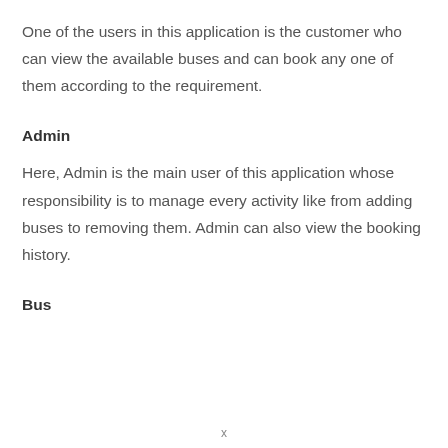One of the users in this application is the customer who can view the available buses and can book any one of them according to the requirement.
Admin
Here, Admin is the main user of this application whose responsibility is to manage every activity like from adding buses to removing them. Admin can also view the booking history.
Bus
x